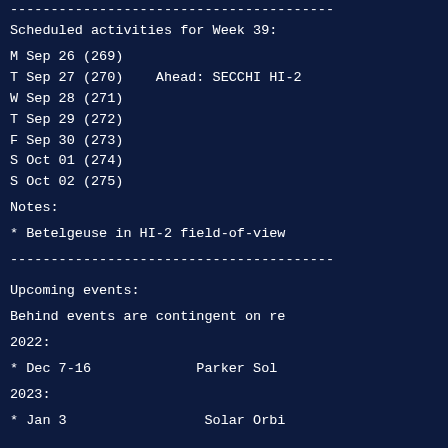----------------------------------------
Scheduled activities for Week 39:
M Sep 26 (269)
T Sep 27 (270)    Ahead: SECCHI HI-2
W Sep 28 (271)
T Sep 29 (272)
F Sep 30 (273)
S Oct 01 (274)
S Oct 02 (275)
Notes:
* Betelgeuse in HI-2 field-of-view
----------------------------------------
Upcoming events:
Behind events are contingent on re
2022:
* Dec 7-16              Parker Sol
2023:
* Jan 3                 Solar Orbi